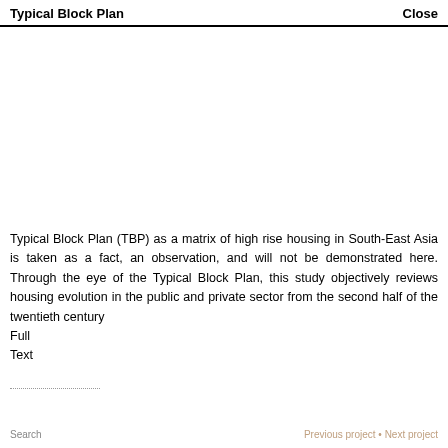Typical Block Plan    Close
Typical Block Plan (TBP) as a matrix of high rise housing in South-East Asia is taken as a fact, an observation, and will not be demonstrated here. Through the eye of the Typical Block Plan, this study objectively reviews housing evolution in the public and private sector from the second half of the twentieth century
Full
Text
Search    Previous project • Next project